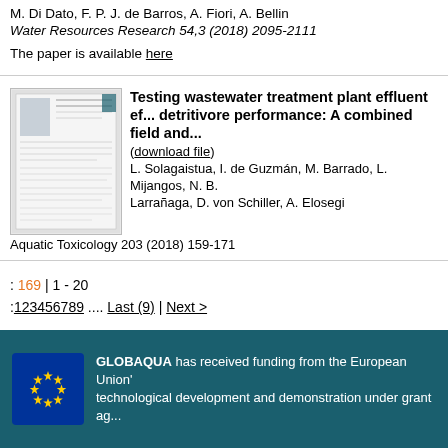M. Di Dato, F. P. J. de Barros, A. Fiori, A. Bellin
Water Resources Research 54,3 (2018) 2095-2111
The paper is available here
[Figure (other): Thumbnail image of a scientific paper]
Testing wastewater treatment plant effluent effects on detritivore performance: A combined field and...
(download file)
L. Solagaistua, I. de Guzmán, M. Barrado, L. Mijangos, N. B. Larrañaga, D. von Schiller, A. Elosegi
Aquatic Toxicology 203 (2018) 159-171
: 169 | 1 - 20
:123456789 .... Last (9) | Next >
GLOBAQUA has received funding from the European Union's technological development and demonstration under grant ag...